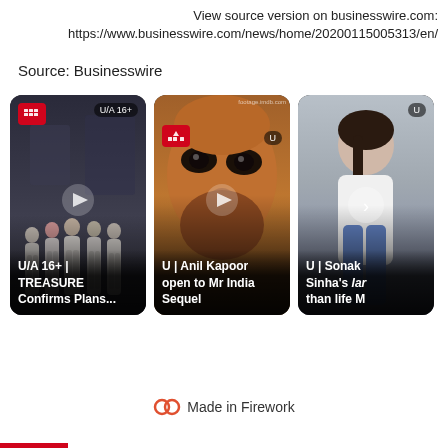View source version on businesswire.com:
https://www.businesswire.com/news/home/20200115005313/en/
Source: Businesswire
[Figure (screenshot): Three video thumbnail cards side by side. Card 1: Group of people in white clothing on dark background, rated U/A 16+, title 'U/A 16+ | TREASURE Confirms Plans...'. Card 2: Close-up of a man's face with warm tones, rated U, title 'U | Anil Kapoor open to Mr India Sequel'. Card 3: Partially visible woman, rated U, title 'U | Sonakshi Sinha's lar... than life M...']
Made in Firework